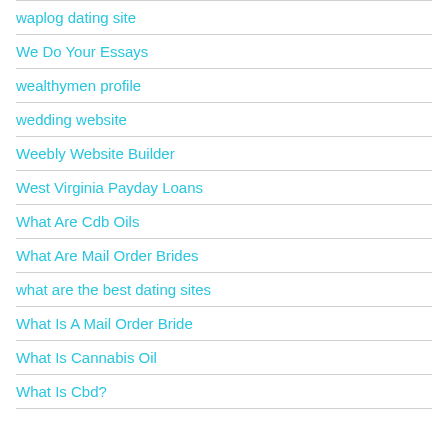waplog dating site
We Do Your Essays
wealthymen profile
wedding website
Weebly Website Builder
West Virginia Payday Loans
What Are Cdb Oils
What Are Mail Order Brides
what are the best dating sites
What Is A Mail Order Bride
What Is Cannabis Oil
What Is Cbd?